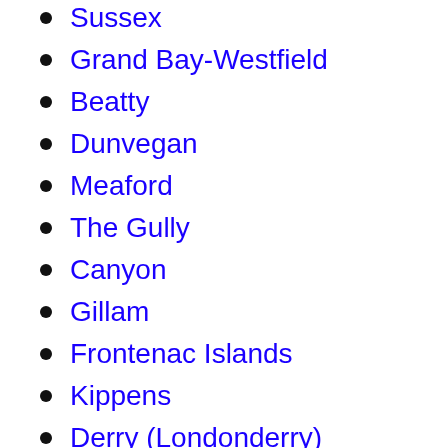Sussex
Grand Bay-Westfield
Beatty
Dunvegan
Meaford
The Gully
Canyon
Gillam
Frontenac Islands
Kippens
Derry (Londonderry)
Forthton